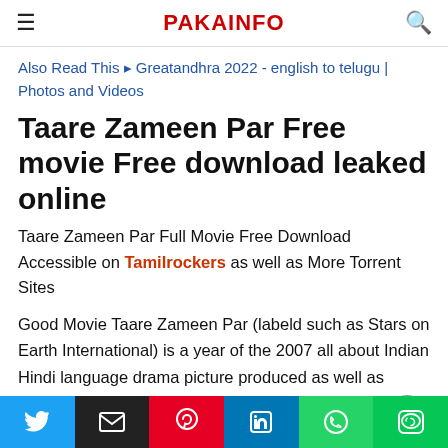PAKAINFO
Also Read This ▶ Greatandhra 2022 - english to telugu | Photos and Videos
Taare Zameen Par Free movie Free download leaked online
Taare Zameen Par Full Movie Free Download Accessible on Tamilrockers as well as More Torrent Sites
Good Movie Taare Zameen Par (labeld such as Stars on Earth International) is a year of the 2007 all about Indian Hindi language drama picture produced as well as directed by Aamir Khan(Indian actor). This picture